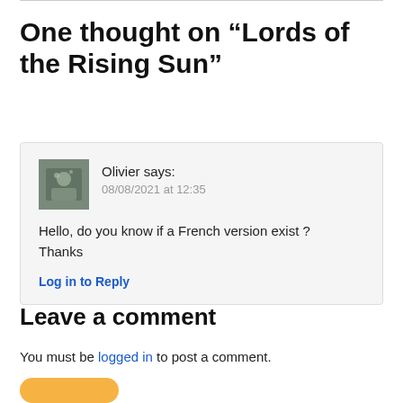One thought on “Lords of the Rising Sun”
Olivier says:
08/08/2021 at 12:35

Hello, do you know if a French version exist ? Thanks

Log in to Reply
Leave a comment
You must be logged in to post a comment.